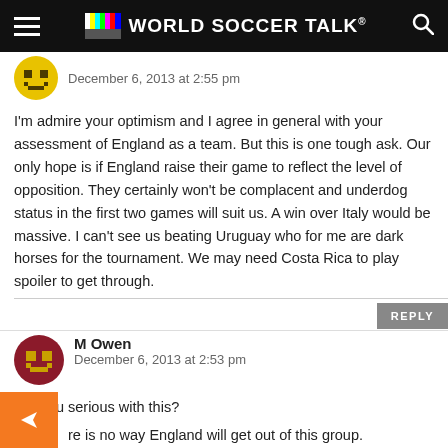WORLD SOCCER TALK
December 6, 2013 at 2:55 pm
I'm admire your optimism and I agree in general with your assessment of England as a team. But this is one tough ask. Our only hope is if England raise their game to reflect the level of opposition. They certainly won't be complacent and underdog status in the first two games will suit us. A win over Italy would be massive. I can't see us beating Uruguay who for me are dark horses for the tournament. We may need Costa Rica to play spoiler to get through.
M Owen
December 6, 2013 at 2:53 pm
Are you serious with this?
re is no way England will get out of this group.